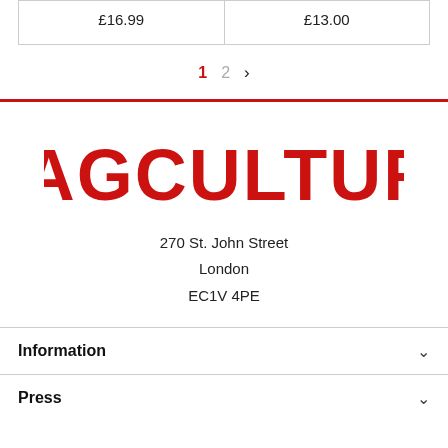| £16.99 | £13.00 |
1  2  >
[Figure (logo): MAGCULTURE logo in bold red uppercase letters]
270 St. John Street
London
EC1V 4PE
Information
Press